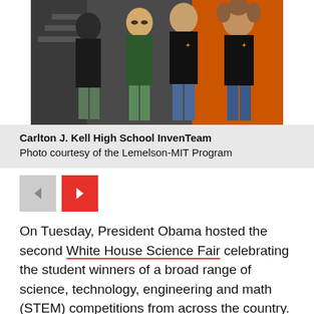[Figure (photo): Group photo of Carlton J. Kell High School InvenTeam students posing together, with an orange wall visible in the background]
Carlton J. Kell High School InvenTeam
Photo courtesy of the Lemelson-MIT Program
On Tuesday, President Obama hosted the second White House Science Fair celebrating the student winners of a broad range of science, technology, engineering and math (STEM) competitions from across the country. The president announced key steps that his administration and its partners are